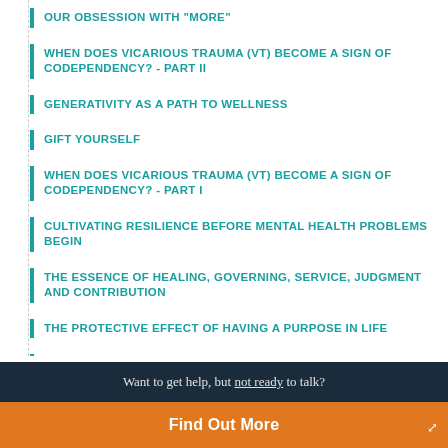OUR OBSESSION WITH "MORE"
WHEN DOES VICARIOUS TRAUMA (VT) BECOME A SIGN OF CODEPENDENCY? - PART II
GENERATIVITY AS A PATH TO WELLNESS
GIFT YOURSELF
WHEN DOES VICARIOUS TRAUMA (VT) BECOME A SIGN OF CODEPENDENCY? - PART I
CULTIVATING RESILIENCE BEFORE MENTAL HEALTH PROBLEMS BEGIN
THE ESSENCE OF HEALING, GOVERNING, SERVICE, JUDGMENT AND CONTRIBUTION
THE PROTECTIVE EFFECT OF HAVING A PURPOSE IN LIFE
ENJOY NOW
Want to get help, but not ready to talk?
Find Out More